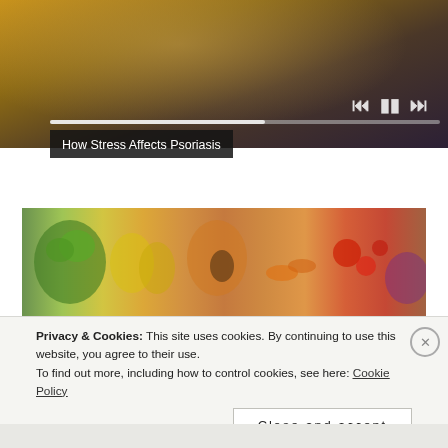[Figure (screenshot): Video player showing a person in a yellow/mustard sweater sitting on a couch with hands clasped, with playback controls (skip back, pause, skip forward) and a progress bar visible]
How Stress Affects Psoriasis
[Figure (photo): Colorful assortment of fresh vegetables and fruits including broccoli, bell peppers, papaya, carrots, tomatoes, cabbage, and other produce arranged together]
Privacy & Cookies: This site uses cookies. By continuing to use this website, you agree to their use.
To find out more, including how to control cookies, see here: Cookie Policy
Close and accept